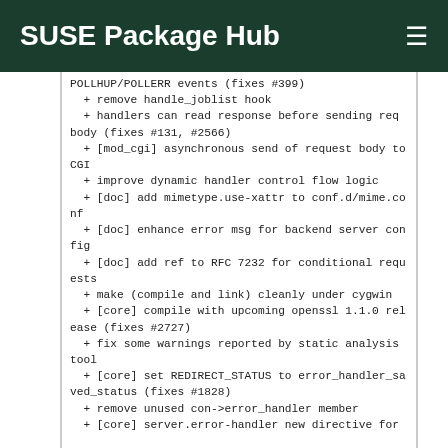SUSE Package Hub
POLLHUP/POLLERR events (fixes #399)
  + remove handle_joblist hook
  + handlers can read response before sending req body (fixes #131, #2566)
  + [mod_cgi] asynchronous send of request body to CGI
  + improve dynamic handler control flow logic
  + [doc] add mimetype.use-xattr to conf.d/mime.conf
  + [doc] enhance error msg for backend server config
  + [doc] add ref to RFC 7232 for conditional requests
  + make (compile and link) cleanly under cygwin
  + [core] compile with upcoming openssl 1.1.0 release (fixes #2727)
  + fix some warnings reported by static analysis tool
  + [core] set REDIRECT_STATUS to error_handler_saved_status (fixes #1828)
  + remove unused con->error_handler member
  + [core] server.error-handler new directive for